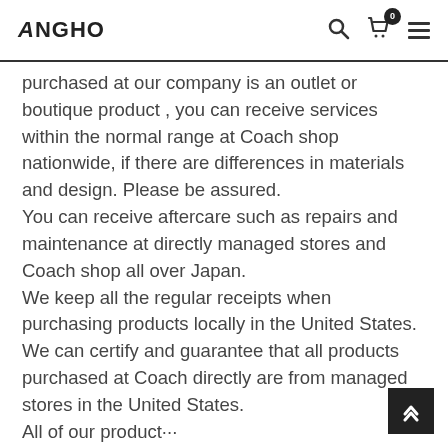ANGHO [search icon] [cart icon with badge 0] [menu icon]
purchased at our company is an outlet or boutique product , you can receive services within the normal range at Coach shop nationwide, if there are differences in materials and design. Please be assured.
You can receive aftercare such as repairs and maintenance at directly managed stores and Coach shop all over Japan.
We keep all the regular receipts when purchasing products locally in the United States.
We can certify and guarantee that all products purchased at Coach directly are from managed stores in the United States.
All of our product…